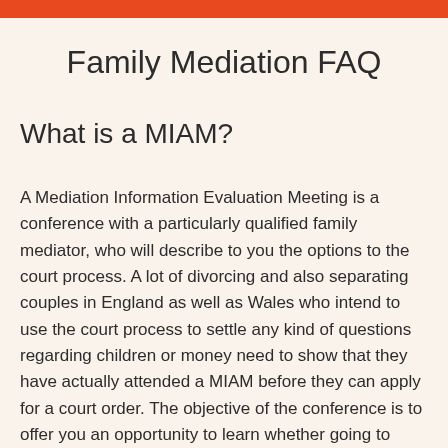Family Mediation FAQ
What is a MIAM?
A Mediation Information Evaluation Meeting is a conference with a particularly qualified family mediator, who will describe to you the options to the court process. A lot of divorcing and also separating couples in England as well as Wales who intend to use the court process to settle any kind of questions regarding children or money need to show that they have actually attended a MIAM before they can apply for a court order. The objective of the conference is to offer you an opportunity to learn whether going to court would certainly be the most effective method of solving the